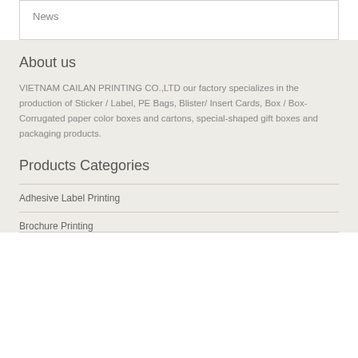News
About us
VIETNAM CAILAN PRINTING CO.,LTD our factory specializes in the production of Sticker / Label, PE Bags, Blister/ Insert Cards, Box / Box-Corrugated paper color boxes and cartons, special-shaped gift boxes and packaging products.
Products Categories
Adhesive Label Printing
Brochure Printing